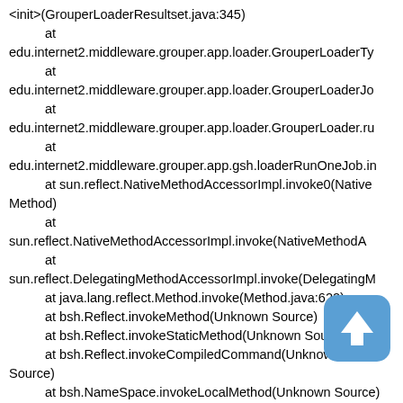<init>(GrouperLoaderResultset.java:345)
    at
edu.internet2.middleware.grouper.app.loader.GrouperLoaderTy
    at
edu.internet2.middleware.grouper.app.loader.GrouperLoaderJo
    at
edu.internet2.middleware.grouper.app.loader.GrouperLoader.ru
    at
edu.internet2.middleware.grouper.app.gsh.loaderRunOneJob.in
    at sun.reflect.NativeMethodAccessorImpl.invoke0(Native Method)
    at
sun.reflect.NativeMethodAccessorImpl.invoke(NativeMethodA
    at
sun.reflect.DelegatingMethodAccessorImpl.invoke(DelegatingM
    at java.lang.reflect.Method.invoke(Method.java:622)
    at bsh.Reflect.invokeMethod(Unknown Source)
    at bsh.Reflect.invokeStaticMethod(Unknown Source)
    at bsh.Reflect.invokeCompiledCommand(Unknown Source)
    at bsh.NameSpace.invokeLocalMethod(Unknown Source)
[Figure (other): Blue rounded rectangle scroll-to-top button with white upward arrow icon]